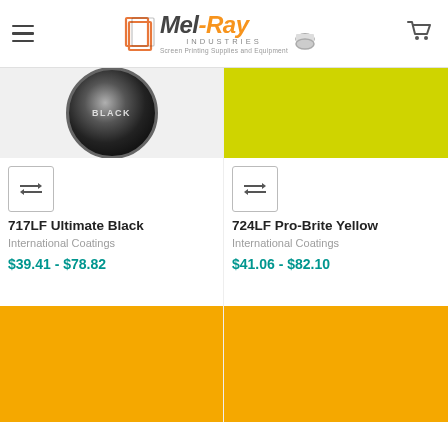Mel-Ray Industries — Screen Printing Supplies and Equipment
[Figure (photo): 717LF Ultimate Black product image - circular black badge label]
[Figure (photo): 724LF Pro-Brite Yellow product image - solid bright yellow-green rectangle]
717LF Ultimate Black
International Coatings
$39.41 - $78.82
724LF Pro-Brite Yellow
International Coatings
$41.06 - $82.10
[Figure (photo): Product image - solid amber/orange-yellow rectangle (bottom left)]
[Figure (photo): Product image - solid amber/orange-yellow rectangle (bottom right)]